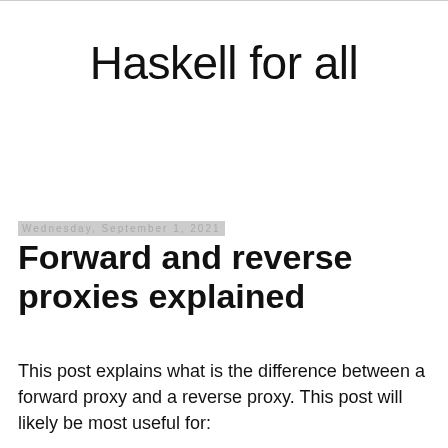Haskell for all
Wednesday, September 1, 2021
Forward and reverse proxies explained
This post explains what is the difference between a forward proxy and a reverse proxy. This post will likely be most useful for: